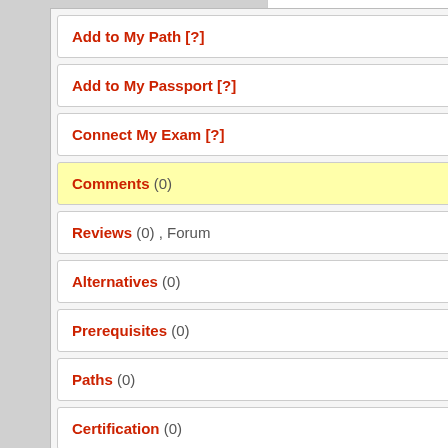Add to My Path [?]
Add to My Passport [?]
Connect My Exam [?]
Comments (0)
Reviews (0) , Forum
Alternatives (0)
Prerequisites (0)
Paths (0)
Certification (0)
Similar courses (10)